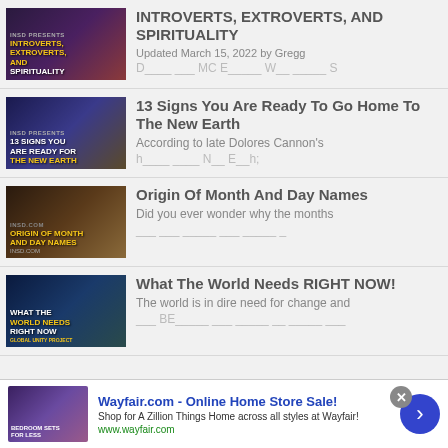[Figure (screenshot): Thumbnail for article: Introverts, Extroverts, and Spirituality showing a man and woman with stylized text overlay]
INTROVERTS, EXTROVERTS, AND SPIRITUALITY
Updated March 15, 2022 by Gregg
[Figure (screenshot): Thumbnail for article: 13 Signs You Are Ready To Go Home To The New Earth]
13 Signs You Are Ready To Go Home To The New Earth
According to late Dolores Cannon's
[Figure (screenshot): Thumbnail for article: Origin Of Month And Day Names showing ancient figures]
Origin Of Month And Day Names
Did you ever wonder why the months
[Figure (screenshot): Thumbnail for article: What The World Needs RIGHT NOW! Global Unity Project]
What The World Needs RIGHT NOW!
The world is in dire need for change and
[Figure (screenshot): Advertisement banner for Wayfair.com - Online Home Store Sale!]
Wayfair.com - Online Home Store Sale! Shop for A Zillion Things Home across all styles at Wayfair! www.wayfair.com